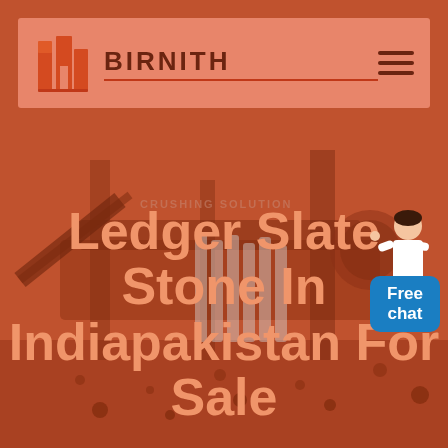[Figure (screenshot): BIRNITH website header with orange logo (building icon), brand name BIRNITH in dark red, and hamburger menu icon on right. Background shows industrial crushing/mining machinery in orange-red tint overlay. Center has semi-transparent vertical bar loading indicator. Right side shows a person illustration above a blue 'Free chat' button.]
Ledger Slate Stone In Indiapakistan For Sale